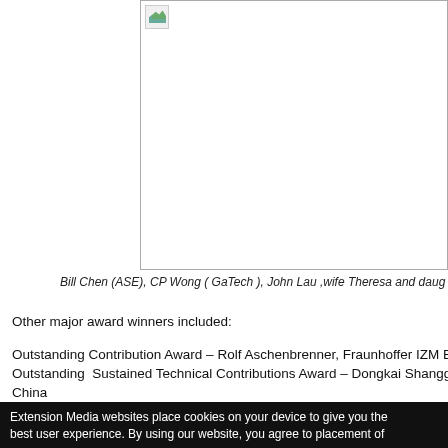[Figure (photo): A photograph (broken/unloaded image placeholder with border) showing Bill Chen, CP Wong, John Lau, wife Theresa and daughter.]
Bill Chen (ASE), CP Wong ( GaTech ), John Lau ,wife Theresa and daug…
Other major award winners included:
Outstanding Contribution Award – Rolf Aschenbrenner, Fraunhoffer IZM Berlin
Outstanding  Sustained Technical Contributions Award – Dongkai Shangguan, Nat… China
Extension Media websites place cookies on your device to give you the best user experience. By using our website, you agree to placement of…